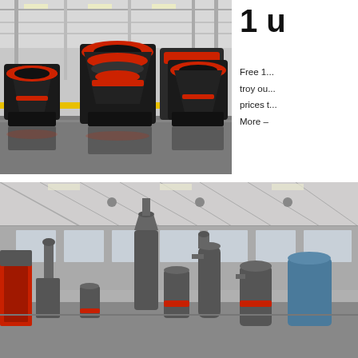[Figure (photo): Industrial factory interior showing large cone crushers and mining equipment with red and black color scheme arranged in a row on a reflective floor under a steel-framed roof]
1 u
Free 1... troy ou... prices t... More –
[Figure (photo): Large industrial factory building interior with grey grinding mills, vertical mill towers, and processing equipment arranged on the factory floor under a high steel-trussed roof]